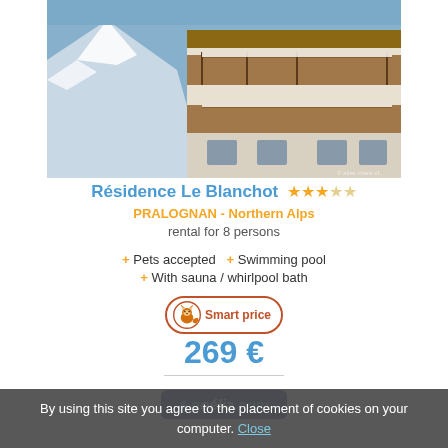[Figure (photo): Alpine ski resort building with wooden balconies and snow-covered mountain in background]
Résidence Le Blanchot ★★★☆☆
PRALOGNAN - Northern Alps
rental for 8 persons
+ Pets accepted  + Swimming pool
+ With sauna / whirlpool bath
Smart price
269 €
[Figure (logo): goelia.com logo - blue rectangle with italic text]
By using this site you agree to the placement of cookies on your computer. Close